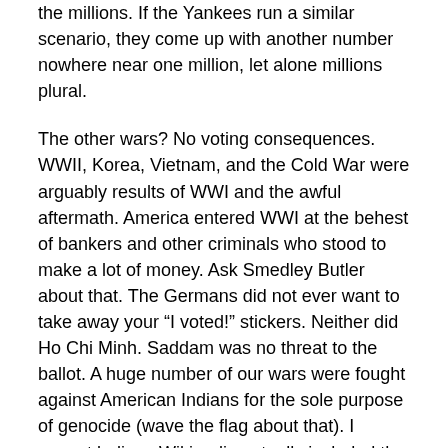the millions. If the Yankees run a similar scenario, they come up with another number nowhere near one million, let alone millions plural.
The other wars? No voting consequences. WWII, Korea, Vietnam, and the Cold War were arguably results of WWI and the awful aftermath. America entered WWI at the behest of bankers and other criminals who stood to make a lot of money. Ask Smedley Butler about that. The Germans did not ever want to take away your “I voted!” stickers. Neither did Ho Chi Minh. Saddam was no threat to the ballot. A huge number of our wars were fought against American Indians for the sole purpose of genocide (wave the flag about that). I cannot believe Wikipedia actually included the 34 killed on board the U.S.S. Liberty but, even so, those men died while minding their business in international waters while monitoring someone else’s